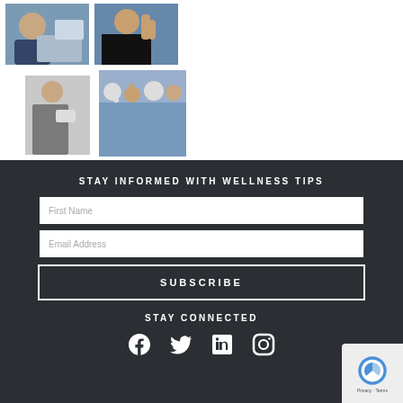[Figure (photo): Four photos arranged in a 2x2 grid: top-left shows a woman working at a laptop in an office, top-right shows a surprised woman in a black top, bottom-left shows a woman holding a clipboard, bottom-right shows a group of people celebrating/cheering.]
STAY INFORMED WITH WELLNESS TIPS
First Name
Email Address
SUBSCRIBE
STAY CONNECTED
[Figure (illustration): Social media icons: Facebook, Twitter, LinkedIn, Instagram]